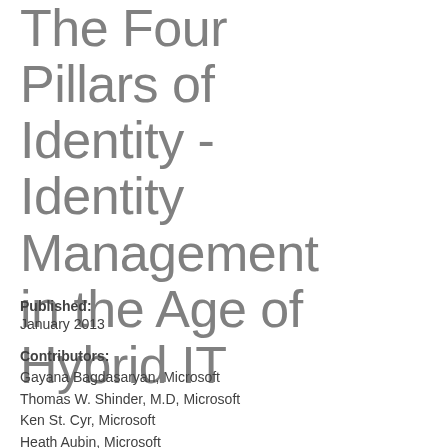The Four Pillars of Identity - Identity Management in the Age of Hybrid IT
Published: January 2013
Contributors: Gayana Bagdasaryan, Microsoft
Thomas W. Shinder, M.D, Microsoft
Ken St. Cyr, Microsoft
Heath Aubin, Microsoft
Brjann Brekkan, Microsoft
Gary Verster, Microsoft
Bruce Wittenberg, Microsoft